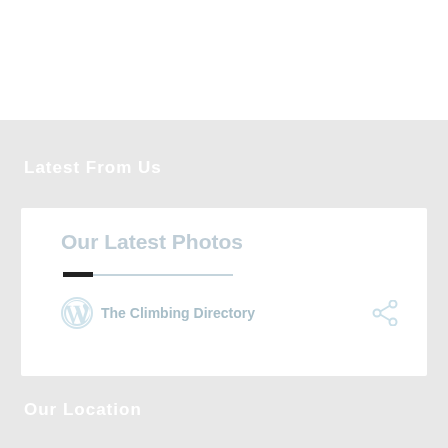Latest From Us
[Figure (screenshot): A white card widget titled 'Our Latest Photos' with a progress/loading bar and a footer showing the WordPress logo, 'The Climbing Directory' text, and a share icon.]
Our Location